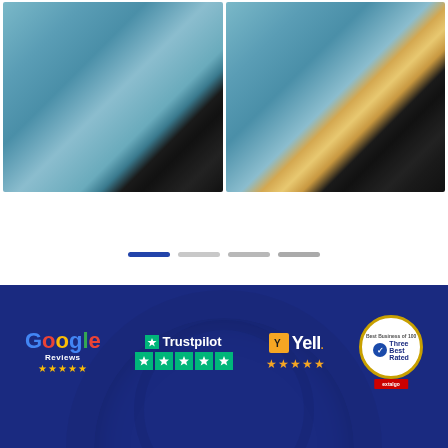[Figure (photo): Before and after comparison photos of a car body panel repair. Left image shows a dent/crease near the wheel arch. Right image shows the same area after paintless dent repair, looking smooth.]
[Figure (infographic): Carousel navigation dots: one active blue dot followed by three inactive grey dots.]
[Figure (infographic): Dark blue banner with review platform logos: Google Reviews (5 stars), Trustpilot (4+ green stars), Yell (5 stars), and ThreeBestRated badge. Background shows faint tire tread pattern.]